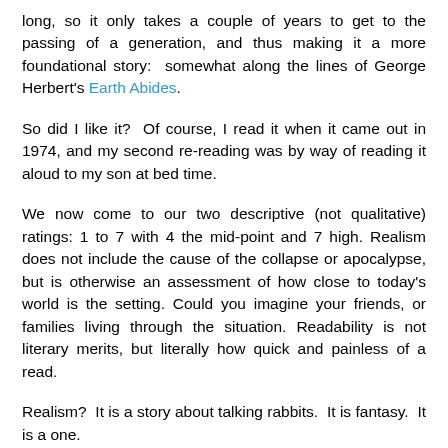long, so it only takes a couple of years to get to the passing of a generation, and thus making it a more foundational story:  somewhat along the lines of George Herbert's Earth Abides.
So did I like it?  Of course, I read it when it came out in 1974, and my second re-reading was by way of reading it aloud to my son at bed time.
We now come to our two descriptive (not qualitative) ratings: 1 to 7 with 4 the mid-point and 7 high. Realism does not include the cause of the collapse or apocalypse, but is otherwise an assessment of how close to today's world is the setting. Could you imagine your friends, or families living through the situation. Readability is not literary merits, but literally how quick and painless of a read.
Realism?  It is a story about talking rabbits.  It is fantasy.  It is a one.
Readability?  It is an absolute classic.  It was published to instant acclaim.  There is some chatting, and philosophizing